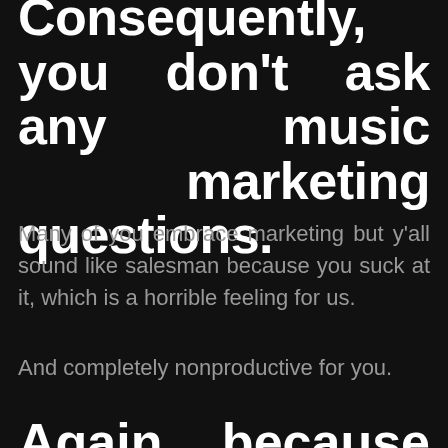Consequently, you don't ask any music marketing questions.
Many of you embrace marketing but y'all sound like salesman because you suck at it, which is a horrible feeling for us.
And completely nonproductive for you.
Again, because you think you're good